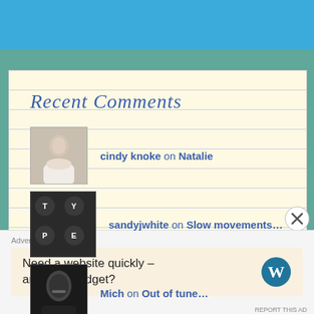Recent Comments
cindy knoke on Natalie
sandyjwhite on Slow movements...
Mich on Out of tune...
Advertisements
Need a website quickly – and on a budget?